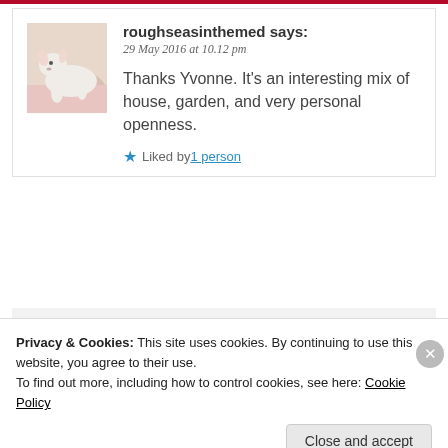roughseasinthemed says:
29 May 2016 at 10.12 pm
[Figure (photo): White dog lying on a pink surface, avatar image for commenter roughseasinthemed]
Thanks Yvonne. It’s an interesting mix of house, garden, and very personal openness.
Liked by 1 person
Reply
[Figure (photo): Brown/tan avatar image for commenter john zande]
john zande says:
Privacy & Cookies: This site uses cookies. By continuing to use this website, you agree to their use.
To find out more, including how to control cookies, see here: Cookie Policy
Close and accept